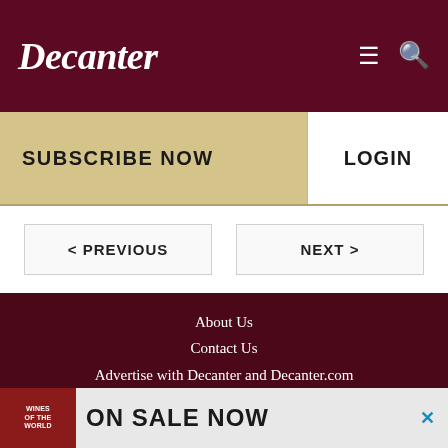Decanter
SUBSCRIBE NOW
LOGIN
< PREVIOUS
NEXT >
About Us
Contact Us
Advertise with Decanter and Decanter.com
Subscribe to Decanter
Decanter Premium
Decanter China
Privacy Settings
[Figure (other): Advertisement banner with wine book image and text ON SALE NOW]